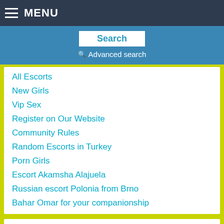MENU
Search
Advanced search
All Escorts
New Girls
Vip Sex
Register on Our Website
Community Rules
Random Escorts in Turkey
Porn Girls
Escort Akamsha Alajuela
Russian escort Polonia from Brno
Bahar Omar for your companionship
Vip Escorts
[Figure (photo): Partial photo of a person, cropped at bottom of page]